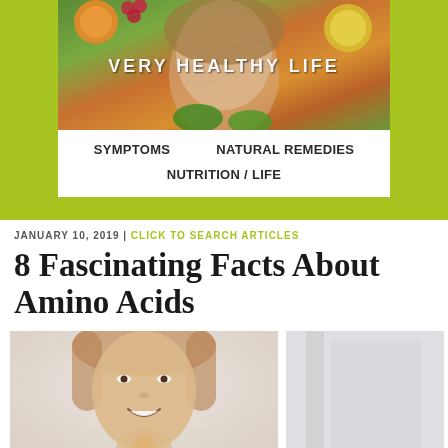[Figure (photo): Website header banner with lime green background containing a white card with a photo of a woman surrounded by fruits and the text 'VERY HEALTHY LIFE']
VERY HEALTHY LIFE
SYMPTOMS    NATURAL REMEDIES    NUTRITION / LIFE
JANUARY 10, 2019 | CLICK TO SEARCH ARTICLES
8 Fascinating Facts About Amino Acids
[Figure (photo): Photo of a smiling woman with light brown hair, appearing to eat something, on a light background. Next to it is a partial photo with a grey/silver background.]